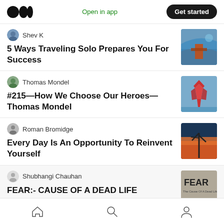Open in app | Get started
Shev K — 5 Ways Traveling Solo Prepares You For Success
Thomas Mondel — #215—How We Choose Our Heroes—Thomas Mondel
Roman Bromidge — Every Day Is An Opportunity To Reinvent Yourself
Shubhangi Chauhan — FEAR:- CAUSE OF A DEAD LIFE
Home | Search | Profile